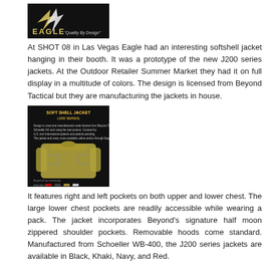[Figure (logo): Eagle Industries logo with wing graphic and tagline 'Quality By Design' on black background]
At SHOT 08 in Las Vegas Eagle had an interesting softshell jacket hanging in their booth. It was a prototype of the new J200 series jackets. At the Outdoor Retailer Summer Market they had it on full display in a multitude of colors. The design is licensed from Beyond Tactical but they are manufacturing the jackets in house.
[Figure (photo): Product spec sheet for Soft Shell Jacket J200 series showing a tan/olive jacket on dark background with specifications text]
It features right and left pockets on both upper and lower chest. The large lower chest pockets are readily accessible while wearing a pack. The jacket incorporates Beyond's signature half moon zippered shoulder pockets. Removable hoods come standard. Manufactured from Schoeller WB-400, the J200 series jackets are available in Black, Khaki, Navy, and Red.
Available soon from Eagle Industries.
[Figure (infographic): Social share buttons: Facebook, Twitter, Email, Share]